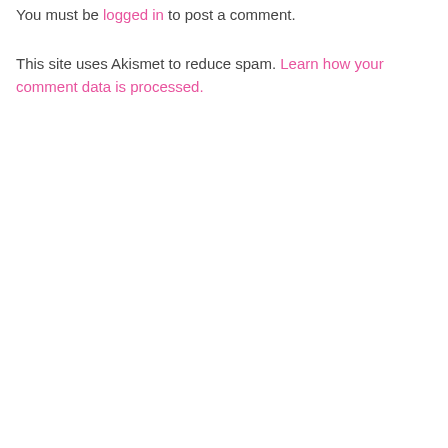You must be logged in to post a comment.
This site uses Akismet to reduce spam. Learn how your comment data is processed.